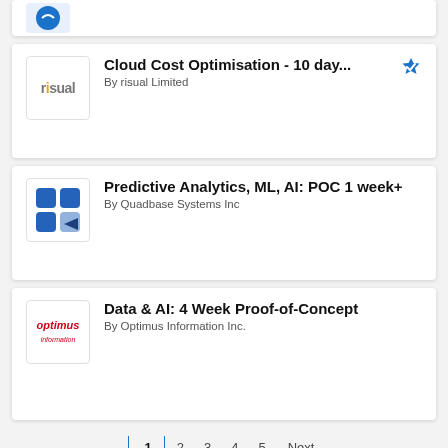[Figure (screenshot): Partial product card at top, cut off]
Cloud Cost Optimisation - 10 day...
By risual Limited
Predictive Analytics, ML, AI: POC 1 week+
By Quadbase Systems Inc
Data & AI: 4 Week Proof-of-Concept
By Optimus Information Inc.
1  2  3  4  5  Next